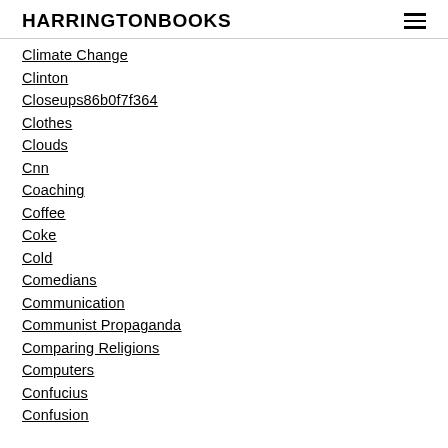HARRINGTONBOOKS
Climate Change
Clinton
Closeups86b0f7f364
Clothes
Clouds
Cnn
Coaching
Coffee
Coke
Cold
Comedians
Communication
Communist Propaganda
Comparing Religions
Computers
Confucius
Confusion